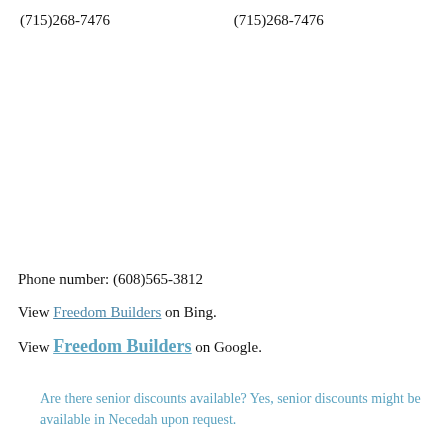(715)268-7476    (715)268-7476
Phone number: (608)565-3812
View Freedom Builders on Bing.
View Freedom Builders on Google.
Are there senior discounts available? Yes, senior discounts might be available in Necedah upon request.